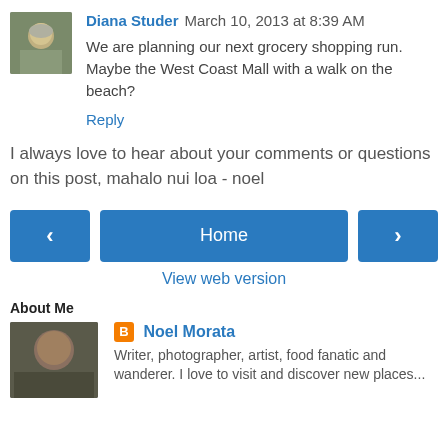[Figure (photo): Avatar photo of Diana Studer, a woman with short gray hair]
Diana Studer  March 10, 2013 at 8:39 AM
We are planning our next grocery shopping run. Maybe the West Coast Mall with a walk on the beach?
Reply
I always love to hear about your comments or questions on this post, mahalo nui loa - noel
‹  Home  ›
View web version
About Me
[Figure (photo): Photo of Noel Morata, a man]
Noel Morata
Writer, photographer, artist, food fanatic and wanderer. I love to visit and discover new places...